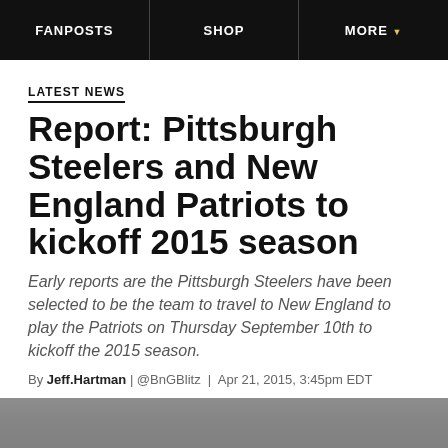FANPOSTS | SHOP | MORE
LATEST NEWS
Report: Pittsburgh Steelers and New England Patriots to kickoff 2015 season
Early reports are the Pittsburgh Steelers have been selected to be the team to travel to New England to play the Patriots on Thursday September 10th to kickoff the 2015 season.
By Jeff.Hartman | @BnGBlitz | Apr 21, 2015, 3:45pm EDT
[Figure (other): Social share buttons: Facebook icon, Twitter icon, and SHARE button]
[Figure (photo): Bottom image strip showing a blurred crowd/sports scene]